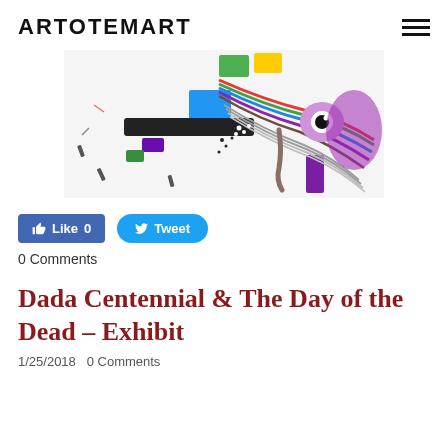ARTOTEMART
[Figure (illustration): Abstract colorful illustration with mechanical and organic shapes including colorful geometric blocks, flowing lines/cables, and cartoon-like eye element on light background]
Like 0
Tweet
0 Comments
Dada Centennial & The Day of the Dead - Exhibit
1/25/2018  0 Comments